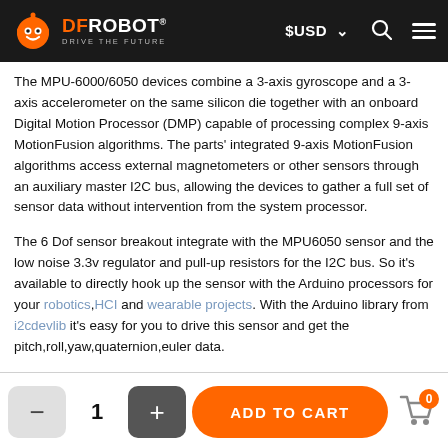DFROBOT - DRIVE THE FUTURE | $USD | Search | Menu
The MPU-6000/6050 devices combine a 3-axis gyroscope and a 3-axis accelerometer on the same silicon die together with an onboard Digital Motion Processor (DMP) capable of processing complex 9-axis MotionFusion algorithms. The parts' integrated 9-axis MotionFusion algorithms access external magnetometers or other sensors through an auxiliary master I2C bus, allowing the devices to gather a full set of sensor data without intervention from the system processor.
The 6 Dof sensor breakout integrate with the MPU6050 sensor and the low noise 3.3v regulator and pull-up resistors for the I2C bus. So it's available to directly hook up the sensor with the Arduino processors for your robotics,HCI and wearable projects. With the Arduino library from i2cdevlib it's easy for you to drive this sensor and get the pitch,roll,yaw,quaternion,euler data.
- 1 + | ADD TO CART | 0